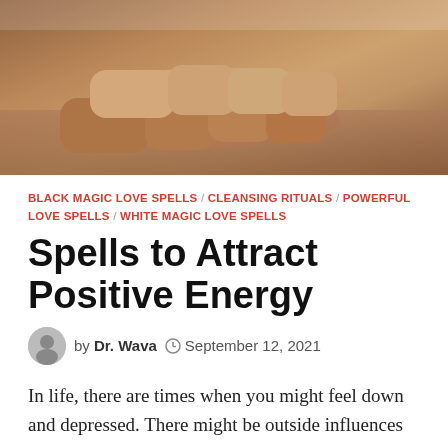[Figure (photo): Two hands touching, one resting on top of the other on a wooden surface, warm brown tones]
BLACK MAGIC LOVE SPELLS / CLEANSING RITUALS / POWERFUL LOVE SPELLS / WHITE MAGIC LOVE SPELLS
Spells to Attract Positive Energy
by Dr. Wava  September 12, 2021
In life, there are times when you might feel down and depressed. There might be outside influences that cause this to happen or there might be no reason at all